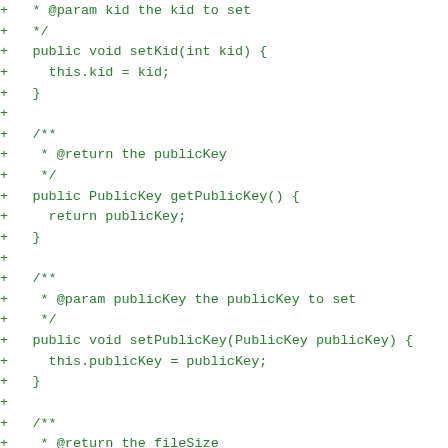+ * @param kid the kid to set
+    */
+    public void setKid(int kid) {
+        this.kid = kid;
+    }
+
+    /**
+     * @return the publicKey
+     */
+    public PublicKey getPublicKey() {
+        return publicKey;
+    }
+
+    /**
+     * @param publicKey the publicKey to set
+     */
+    public void setPublicKey(PublicKey publicKey) {
+        this.publicKey = publicKey;
+    }
+
+    /**
+     * @return the fileSize
+     */
+    public int getFileSize() {
+        return fileSize;
+    }
+
+    /**
+     * @param fileSize the fileSize to set
+     */